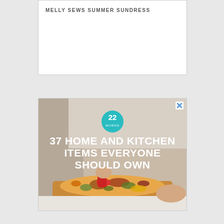MELLY SEWS SUMMER SUNDRESS
[Figure (photo): Advertisement banner featuring a person cutting pizza with a red pizza cutter on a wooden board, with text '37 HOME AND KITCHEN ITEMS EVERYONE SHOULD OWN' and a '22 Words' circular logo badge]